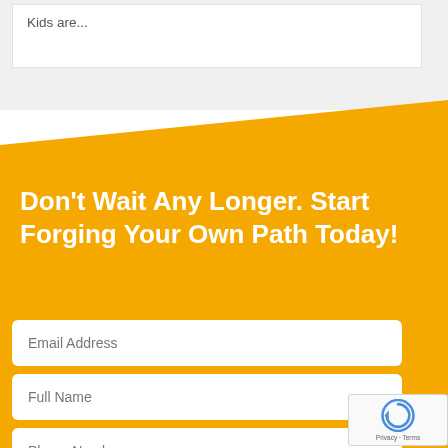Kids are...
Don't Wait Any Longer. Start Forging Your Own Path Today!
Email Address
Full Name
Phone Number